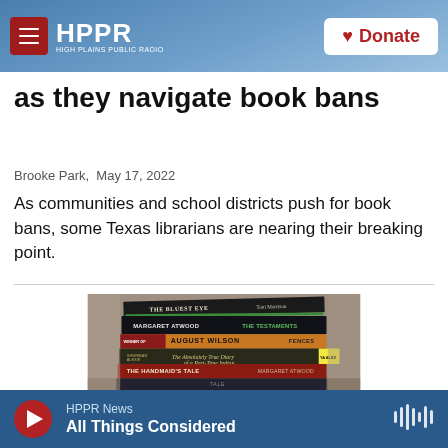HPPR HIGH PLAINS PUBLIC RADIO | Donate
as they navigate book bans
Brooke Park,  May 17, 2022
As communities and school districts push for book bans, some Texas librarians are nearing their breaking point.
[Figure (photo): A stack of books photographed from the side, showing spines including: The Bluest Eye by Toni Morrison, The Testaments by Margaret Atwood, August Wilson Fences, The Absolutely True Diary of a Part-Time Indian, The Handmaid's Tale by Margaret Atwood, and another book below.]
HPPR News | All Things Considered